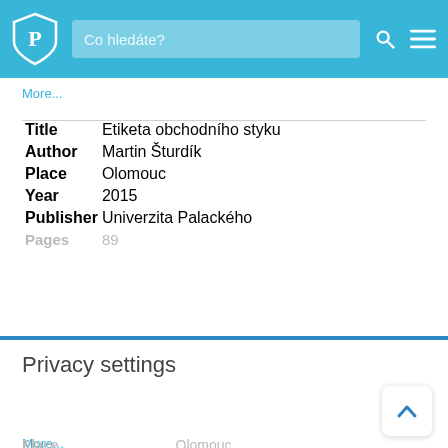Co hledáte?
More...
| Field | Value |
| --- | --- |
| Title | Etiketa obchodního styku |
| Author | Martin Šturdík |
| Place | Olomouc |
| Year | 2015 |
| Publisher | Univerzita Palackého |
| Pages | 89 |
Privacy settings
Allow all cookies
More...
Place    Olomouc